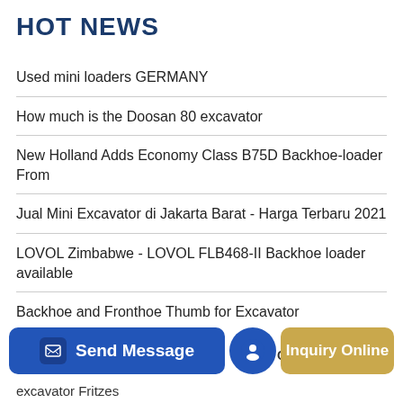HOT NEWS
Used mini loaders GERMANY
How much is the Doosan 80 excavator
New Holland Adds Economy Class B75D Backhoe-loader From
Jual Mini Excavator di Jakarta Barat - Harga Terbaru 2021
LOVOL Zimbabwe - LOVOL FLB468-II Backhoe loader available
Backhoe and Fronthoe Thumb for Excavator
Send Message   CAT   Inquiry Online   excavator Fritzes